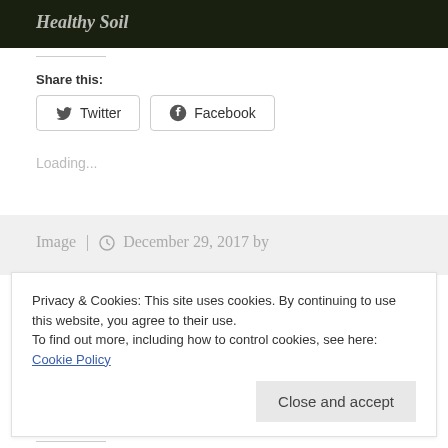[Figure (photo): Dark background image with italic white text partially visible]
Share this:
Twitter
Facebook
Loading...
Image | December 29, 2017 by
Privacy & Cookies: This site uses cookies. By continuing to use this website, you agree to their use.
To find out more, including how to control cookies, see here: Cookie Policy
Close and accept